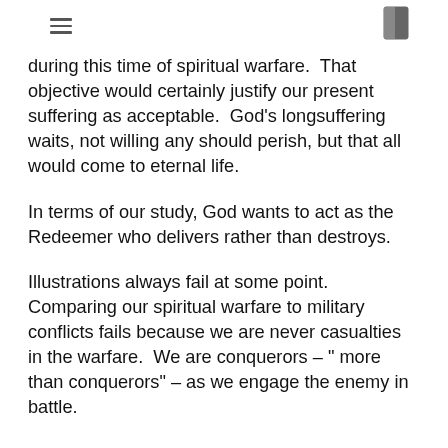[hamburger menu icon] [bookmark icon]
during this time of spiritual warfare.  That objective would certainly justify our present suffering as acceptable.  God's longsuffering waits, not willing any should perish, but that all would come to eternal life.
In terms of our study, God wants to act as the Redeemer who delivers rather than destroys.
Illustrations always fail at some point.  Comparing our spiritual warfare to military conflicts fails because we are never casualties in the warfare.  We are conquerors – " more than conquerors" – as we engage the enemy in battle.